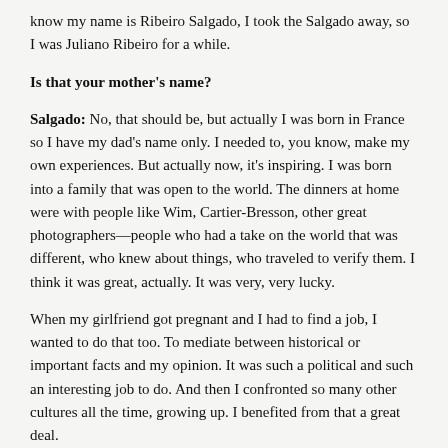know my name is Ribeiro Salgado, I took the Salgado away, so I was Juliano Ribeiro for a while.
Is that your mother's name?
Salgado: No, that should be, but actually I was born in France so I have my dad's name only. I needed to, you know, make my own experiences. But actually now, it's inspiring. I was born into a family that was open to the world. The dinners at home were with people like Wim, Cartier-Bresson, other great photographers—people who had a take on the world that was different, who knew about things, who traveled to verify them. I think it was great, actually. It was very, very lucky.
When my girlfriend got pregnant and I had to find a job, I wanted to do that too. To mediate between historical or important facts and my opinion. It was such a political and such an interesting job to do. And then I confronted so many other cultures all the time, growing up. I benefited from that a great deal.
The connections you drew in the film between what Sebastião shoots and where he grew up were so interesting. They made me wonder why Africa, especially in and around the Sahel, keeps drawing him back. Do you think there is